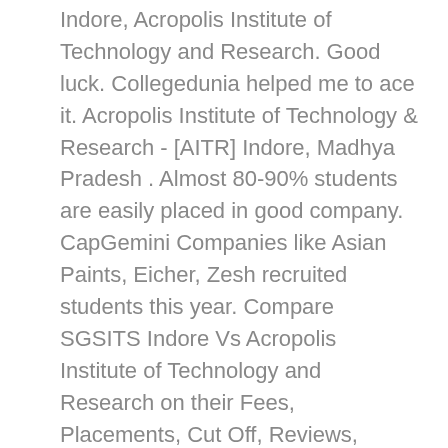Indore, Acropolis Institute of Technology and Research. Good luck. Collegedunia helped me to ace it. Acropolis Institute of Technology & Research - [AITR] Indore, Madhya Pradesh . Almost 80-90% students are easily placed in good company. CapGemini Companies like Asian Paints, Eicher, Zesh recruited students this year. Compare SGSITS Indore Vs Acropolis Institute of Technology and Research on their Fees, Placements, Cut Off, Reviews, Seats, Courses and other details. This is an informative page for the department of Information Technology Engineering at Acropolis Institute of Technology and Research... It has a campus that is equipped with all essential requisites needed to feature a conducive learning environment. Also, there is a list of scholarship schemes featured by the college on its website. The course is same as per instruction from the rajiv gandhi prodyogiki vishyavidyalay university.